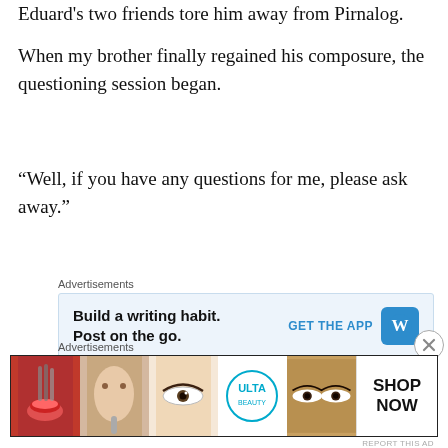Eduard's two friends tore him away from Pirnalog.
When my brother finally regained his composure, the questioning session began.
“Well, if you have any questions for me, please ask away.”
[Figure (screenshot): WordPress advertisement: 'Build a writing habit. Post on the go.' with GET THE APP button and WordPress logo]
First, Klaus raised his hand.
[Figure (screenshot): ULTA Beauty advertisement with makeup images and SHOP NOW button]